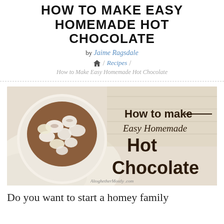HOW TO MAKE EASY HOMEMADE HOT CHOCOLATE
by Jaime Ragsdale
🏠 / Recipes /
How to Make Easy Homemade Hot Chocolate
[Figure (photo): Photo of a mug of hot chocolate topped with marshmallows on a cream-colored cloth, with text overlay reading 'How to make Easy Homemade Hot Chocolate' and watermark 'AltoghetherMostly.com']
Do you want to start a homey family